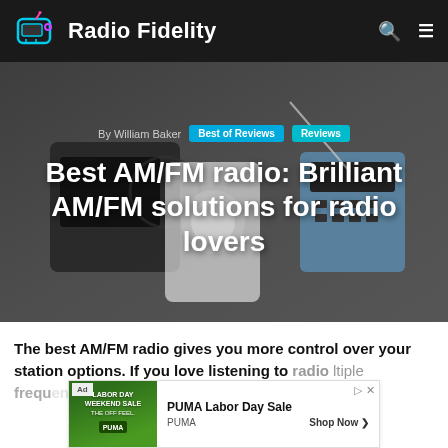Radio Fidelity
[Figure (screenshot): Hero image with radio devices in background, overlaid with article byline and title]
By William Baker
Best of Reviews
Reviews
Best AM/FM radio: Brilliant AM/FM solutions for radio lovers
The best AM/FM radio gives you more control over your station options. If you love listening to radio [... multiple frequencies ...] and